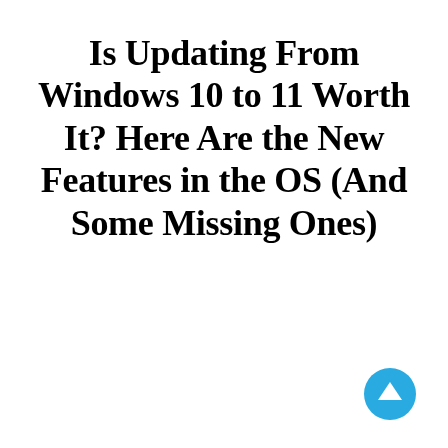Is Updating From Windows 10 to 11 Worth It? Here Are the New Features in the OS (And Some Missing Ones)
[Figure (other): A circular blue button with an upward-pointing white arrow, positioned in the bottom-right corner of the page.]